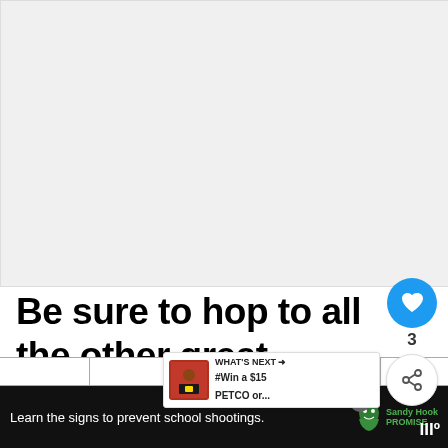[Figure (photo): Large blank/white image area at top of page, appears to be a social media post image placeholder]
Be sure to hop to all the other great giveaways in the link
[Figure (infographic): Like button (blue circle with heart icon) showing count of 3, and a share button below it]
[Figure (infographic): WHAT'S NEXT banner showing #Win a $15 PETCO or... with a Petco product image]
|  |  |  |  |  |
[Figure (infographic): Dark advertisement bar at bottom: Learn the signs to prevent school shootings. Sandy Hook Promise logo]